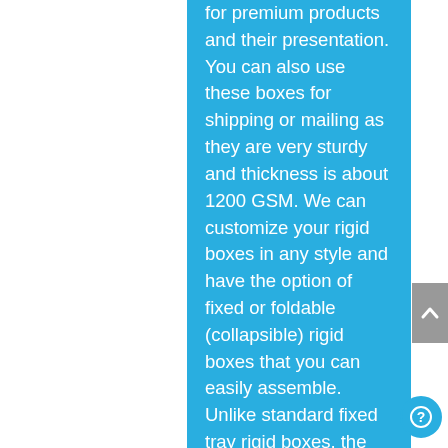for premium products and their presentation. You can also use these boxes for shipping or mailing as they are very sturdy and thickness is about 1200 GSM. We can customize your rigid boxes in any style and have the option of fixed or foldable (collapsible) rigid boxes that you can easily assemble. Unlike standard fixed tray rigid boxes, the foldable/collapsible rigid boxes come flat, occupy lesser space and it is easy to store them in the warehouse. They come pre-glued, pre-